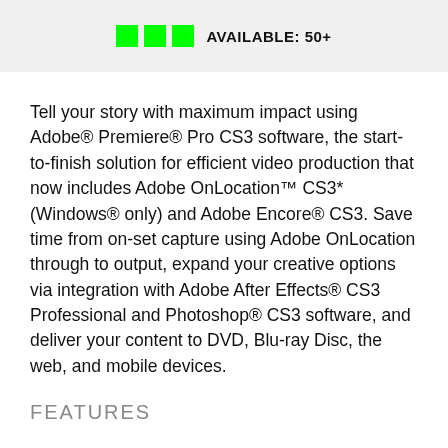[Figure (infographic): Three green squares followed by bold text 'AVAILABLE: 50+' on a light grey background header bar]
Tell your story with maximum impact using Adobe® Premiere® Pro CS3 software, the start-to-finish solution for efficient video production that now includes Adobe OnLocation™ CS3* (Windows® only) and Adobe Encore® CS3. Save time from on-set capture using Adobe OnLocation through to output, expand your creative options via integration with Adobe After Effects® CS3 Professional and Photoshop® CS3 software, and deliver your content to DVD, Blu-ray Disc, the web, and mobile devices.
FEATURES